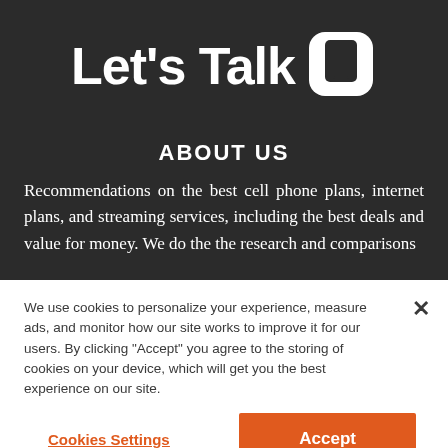Let's Talk
ABOUT US
Recommendations on the best cell phone plans, internet plans, and streaming services, including the best deals and value for money. We do the the research and comparisons
We use cookies to personalize your experience, measure ads, and monitor how our site works to improve it for our users. By clicking "Accept" you agree to the storing of cookies on your device, which will get you the best experience on our site.
Cookies Settings
Accept